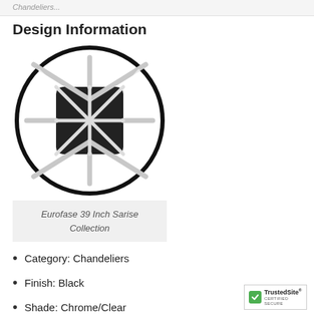Chandeliers...
Design Information
[Figure (photo): Top-down view of the Eurofase 39 Inch Sarise Collection chandelier inside a black circular frame, showing chrome/clear geometric struts and a black central body.]
Eurofase 39 Inch Sarise Collection
Category: Chandeliers
Finish: Black
Shade: Chrome/Clear